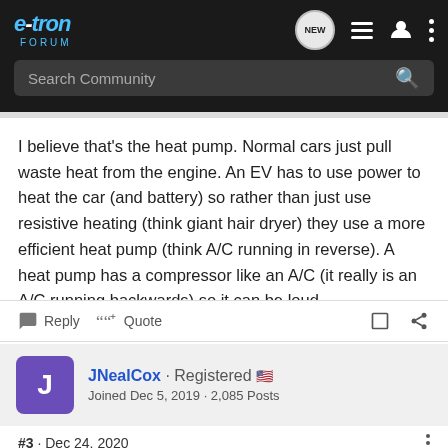e-tron FORUM — navigation bar with search
I believe that's the heat pump. Normal cars just pull waste heat from the engine. An EV has to use power to heat the car (and battery) so rather than just use resistive heating (think giant hair dryer) they use a more efficient heat pump (think A/C running in reverse). A heat pump has a compressor like an A/C (it really is an A/C running backwards) so it can be loud.
JNealCox · Registered 🇺🇸
Joined Dec 5, 2019 · 2,085 Posts
#3 · Dec 24, 2020